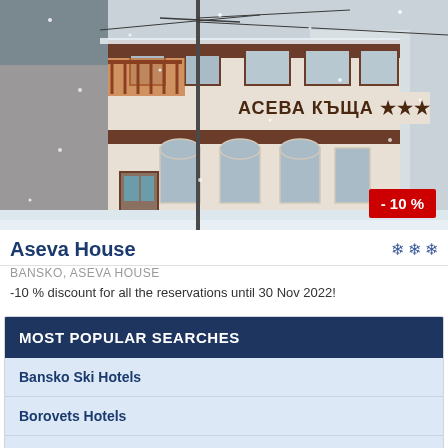[Figure (photo): Snow-covered building with Cyrillic sign 'АСЕВА КЪЩА' (Aseva House), a multi-story hotel/guesthouse in winter, with utility wires in foreground and snowfall visible]
Aseva House
BANSKO, ASEVA HOUSE
-10 % discount for all the reservations until 30 Nov 2022!
MOST POPULAR SEARCHES
Bansko Ski Hotels
Borovets Hotels
Webcams in Pamporovo